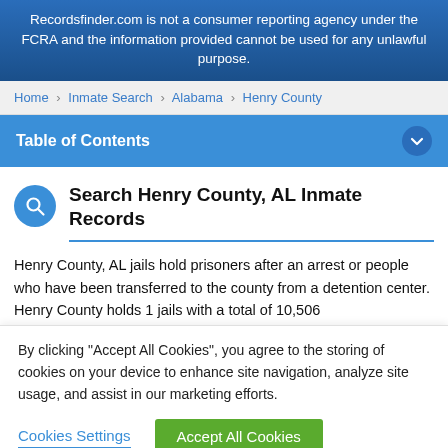Recordsfinder.com is not a consumer reporting agency under the FCRA and the information provided cannot be used for any unlawful purpose.
Home > Inmate Search > Alabama > Henry County
Table of Contents
Search Henry County, AL Inmate Records
Henry County, AL jails hold prisoners after an arrest or people who have been transferred to the county from a detention center. Henry County holds 1 jails with a total of 10,506
By clicking “Accept All Cookies”, you agree to the storing of cookies on your device to enhance site navigation, analyze site usage, and assist in our marketing efforts.
Cookies Settings | Accept All Cookies